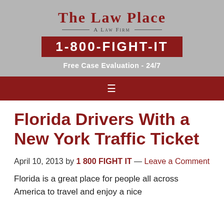[Figure (logo): The Law Place - A Law Firm logo with phone number 1-800-FIGHT-IT and Free Case Evaluation - 24/7 text on gray background]
≡
Florida Drivers With a New York Traffic Ticket
April 10, 2013 by 1 800 FIGHT IT — Leave a Comment
Florida is a great place for people all across America to travel and enjoy a nice